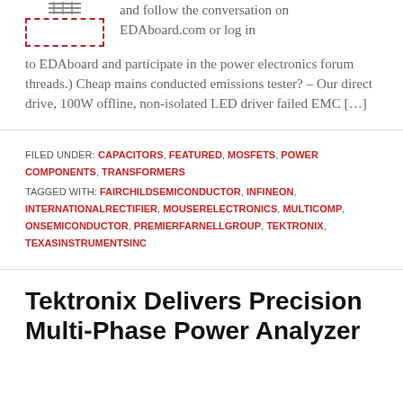[Figure (illustration): Small icon resembling stacked horizontal lines (like a capacitor or signal symbol) above a dashed red rectangle]
and follow the conversation on EDAboard.com or log in to EDAboard and participate in the power electronics forum threads.) Cheap mains conducted emissions tester? – Our direct drive, 100W offline, non-isolated LED driver failed EMC […]
FILED UNDER: CAPACITORS, FEATURED, MOSFETS, POWER COMPONENTS, TRANSFORMERS
TAGGED WITH: FAIRCHILDSEMICONDUCTOR, INFINEON, INTERNATIONALRECTIFIER, MOUSERELECTRONICS, MULTICOMP, ONSEMICONDUCTOR, PREMIERFARNELLGROUP, TEKTRONIX, TEXASINSTRUMENTSINC
Tektronix Delivers Precision Multi-Phase Power Analyzer